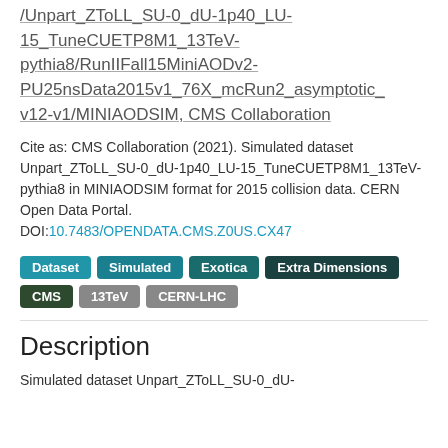/Unpart_ZToLL_SU-0_dU-1p40_LU-15_TuneCUETP8M1_13TeV-pythia8/RunIIFall15MiniAODv2-PU25nsData2015v1_76X_mcRun2_asymptotic_v12-v1/MINIAODSIM, CMS Collaboration
Cite as: CMS Collaboration (2021). Simulated dataset Unpart_ZToLL_SU-0_dU-1p40_LU-15_TuneCUETP8M1_13TeV-pythia8 in MINIAODSIM format for 2015 collision data. CERN Open Data Portal. DOI:10.7483/OPENDATA.CMS.Z0US.CX47
Dataset
Simulated
Exotica
Extra Dimensions
CMS
13TeV
CERN-LHC
Description
Simulated dataset Unpart_ZToLL_SU-0_dU-